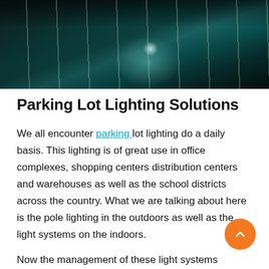[Figure (photo): A dark nighttime parking lot illuminated by a bright overhead light pole, showing painted parking space lines on dark asphalt with a teal/cyan glow.]
Parking Lot Lighting Solutions
We all encounter parking lot lighting do a daily basis. This lighting is of great use in office complexes, shopping centers distribution centers and warehouses as well as the school districts across the country. What we are talking about here is the pole lighting in the outdoors as well as the light systems on the indoors.
Now the management of these light systems